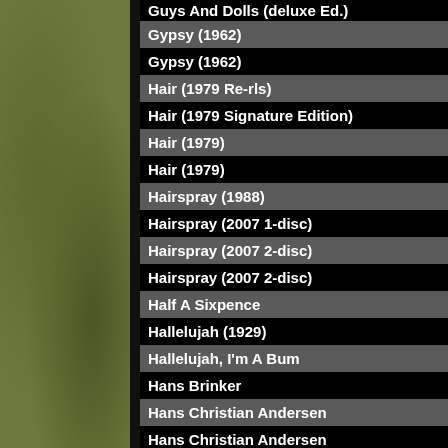Guys And Dolls (deluxe Ed.)
Gypsy (1962)
Gypsy (1962)
Hair (1979 Re-rls)
Hair (1979 Signature Edition)
Hair (1979)
Hair (1979)
Hairspray (1988)
Hairspray (2007 1-disc)
Hairspray (2007 2-disc)
Hairspray (2007 2-disc)
Half A Sixpence
Hallelujah (1929)
Hallelujah, I'm A Bum
Hans Brinker
Hans Christian Andersen
Hans Christian Andersen
Hans Christian Andersen(rerls)
Happiest Millionaire, The